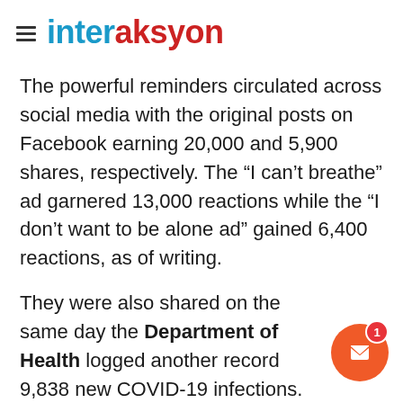interaksyon
The powerful reminders circulated across social media with the original posts on Facebook earning 20,000 and 5,900 shares, respectively. The “I can't breathe” ad garnered 13,000 reactions while the “I don't want to be alone ad” gained 6,400 reactions, as of writing.
They were also shared on the same day the Department of Health logged another record 9,838 new COVID-19 infections.